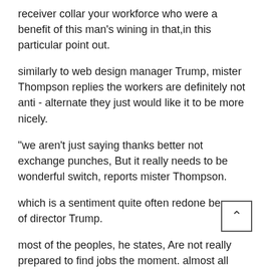receiver collar your workforce who were a benefit of this man's wining in that,in this particular point out.
similarly to web design manager Trump, mister Thompson replies the workers are definitely not anti - alternate they just would like it to be more nicely.
"we aren't just saying thanks better not exchange punches, But it really needs to be wonderful switch, reports mister Thompson.
which is a sentiment quite often redone because of director Trump.
most of the peoples, he states, Are not really prepared to find jobs the moment. almost all been employed by into the Conshohocken all steel metal generator over a decade.
throw Hauer. A Trump voter who did in guarana for almost a